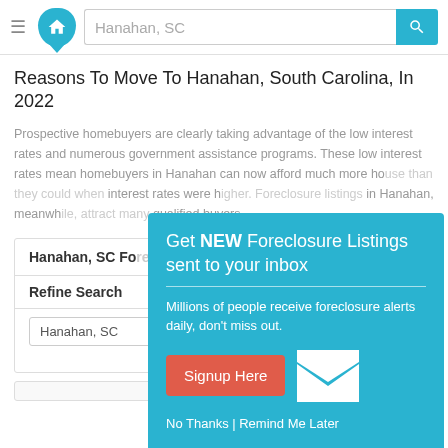Hanahan, SC — search bar with logo
Reasons To Move To Hanahan, South Carolina, In 2022
Prospective homebuyers are clearly taking advantage of the low interest rates and numerous government assistance programs. These low interest rates mean homebuyers in Hanahan can now afford much more ho... interest rates were h... in Hanahan, meanwh... qualified buyers.
[Figure (screenshot): Popup modal with teal background: 'Get NEW Foreclosure Listings sent to your inbox. Millions of people receive foreclosure alerts daily, don't miss out. Signup Here button. No Thanks | Remind Me Later']
Hanahan, SC Fo...
Refine Search
Hanahan, SC